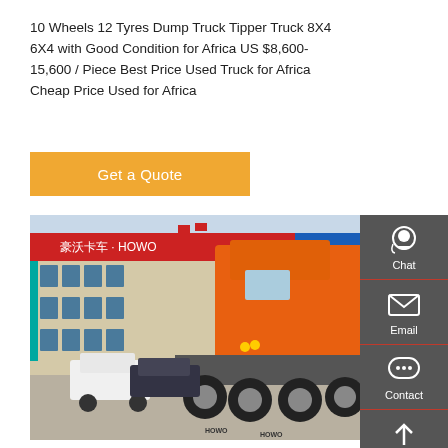10 Wheels 12 Tyres Dump Truck Tipper Truck 8X4 6X4 with Good Condition for Africa US $8,600-15,600 / Piece Best Price Used Truck for Africa Cheap Price Used for Africa
Get a Quote
[Figure (photo): Orange HOWO truck (rear view) parked in front of a HOWO dealership building with red and blue facade and Chinese signage. Several other vehicles visible in the parking lot.]